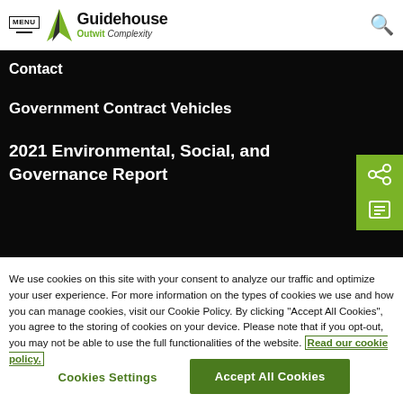MENU | Guidehouse Outwit Complexity
Contact
Government Contract Vehicles
2021 Environmental, Social, and Governance Report
We use cookies on this site with your consent to analyze our traffic and optimize your user experience. For more information on the types of cookies we use and how you can manage cookies, visit our Cookie Policy. By clicking "Accept All Cookies", you agree to the storing of cookies on your device. Please note that if you opt-out, you may not be able to use the full functionalities of the website. Read our cookie policy.
Cookies Settings | Accept All Cookies